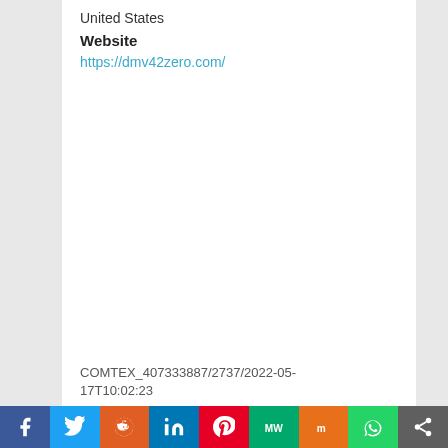United States
Website
https://dmv42zero.com/
COMTEX_407333887/2737/2022-05-17T10:02:23
[Figure (other): Social media sharing bar with icons for Facebook, Twitter, Reddit, LinkedIn, Pinterest, MarketWatch, Mix, WhatsApp, and Share]